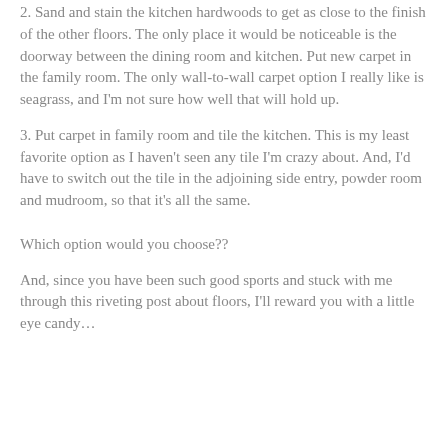2. Sand and stain the kitchen hardwoods to get as close to the finish of the other floors. The only place it would be noticeable is the doorway between the dining room and kitchen. Put new carpet in the family room. The only wall-to-wall carpet option I really like is seagrass, and I'm not sure how well that will hold up.
3. Put carpet in family room and tile the kitchen. This is my least favorite option as I haven't seen any tile I'm crazy about. And, I'd have to switch out the tile in the adjoining side entry, powder room and mudroom, so that it's all the same.
Which option would you choose??
And, since you have been such good sports and stuck with me through this riveting post about floors, I'll reward you with a little eye candy…